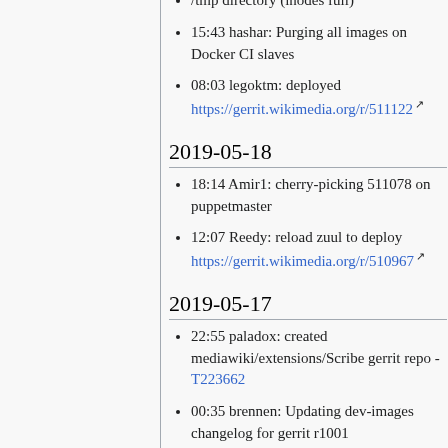/tmp directory (inodes full)
15:43 hashar: Purging all images on Docker CI slaves
08:03 legoktm: deployed https://gerrit.wikimedia.org/r/511122
2019-05-18
18:14 Amir1: cherry-picking 511078 on puppetmaster
12:07 Reedy: reload zuul to deploy https://gerrit.wikimedia.org/r/510967
2019-05-17
22:55 paladox: created mediawiki/extensions/Scribe gerrit repo - T223662
00:35 brennen: Updating dev-images changelog for gerrit r1001